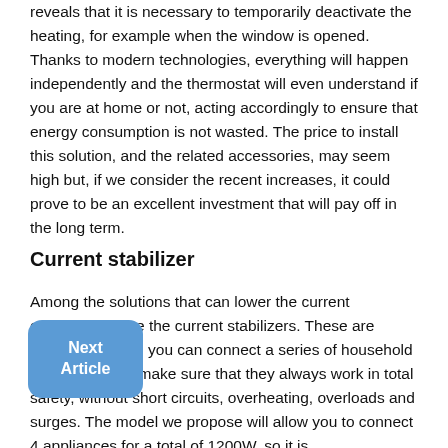reveals that it is necessary to temporarily deactivate the heating, for example when the window is opened. Thanks to modern technologies, everything will happen independently and the thermostat will even understand if you are at home or not, acting accordingly to ensure that energy consumption is not wasted. The price to install this solution, and the related accessories, may seem high but, if we consider the recent increases, it could prove to be an excellent investment that will pay off in the long term.
Current stabilizer
Among the solutions that can lower the current consumption are the current stabilizers. These are devices to which you can connect a series of household appliances and make sure that they always work in total safety, without short circuits, overheating, overloads and surges. The model we propose will allow you to connect 4 appliances for a total of 1200W, so it is